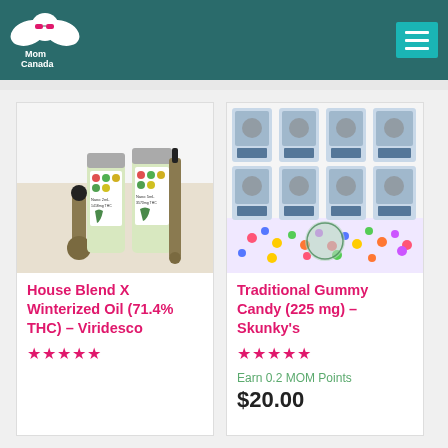Mom Canada
[Figure (photo): Product photo of House Blend X Winterized Oil tubes and syringes by Viridesco]
House Blend X Winterized Oil (71.4% THC) – Viridesco
★★★★★
[Figure (photo): Product photo of Traditional Gummy Candy (225 mg) by Skunky's bags with colorful gummies]
Traditional Gummy Candy (225 mg) – Skunky's
★★★★★
Earn 0.2 MOM Points
$20.00